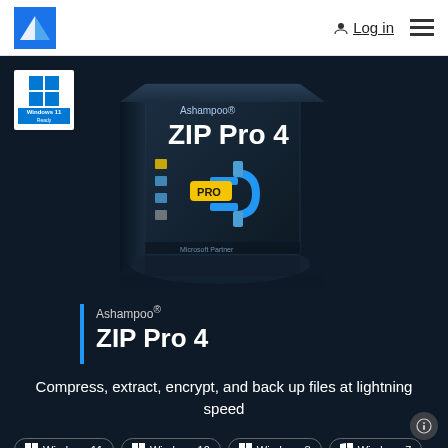[Figure (logo): Ashampoo blue logo in white navbar top left]
Log in
[Figure (illustration): Ashampoo ZIP Pro 4 software box product image on dark background]
[Figure (logo): Windows 11 Ready badge, blue grid logo with text]
Ashampoo® ZIP Pro 4
Compress, extract, encrypt, and back up files at lightning speed
Windows 11
Windows 10
Windows 8
Windows 7